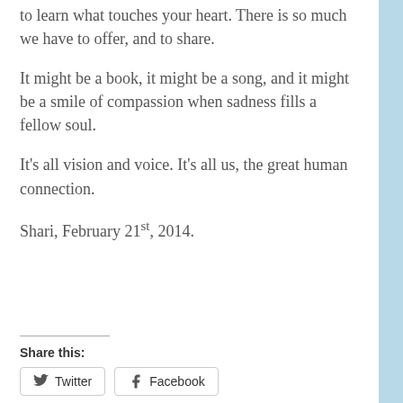to learn what touches your heart. There is so much we have to offer, and to share.
It might be a book, it might be a song, and it might be a smile of compassion when sadness fills a fellow soul.
It’s all vision and voice. It’s all us, the great human connection.
Shari, February 21st, 2014.
Share this:
Twitter
Facebook